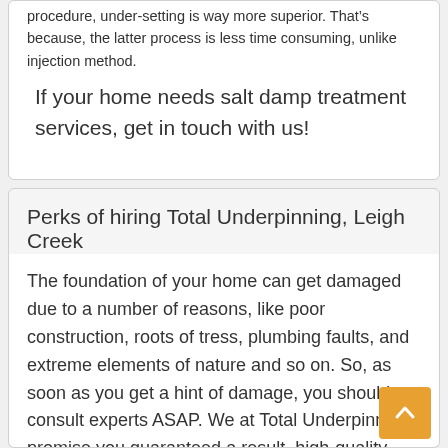procedure, under-setting is way more superior. Thatâ€™s because, the latter process is less time consuming, unlike injection method.
If your home needs salt damp treatment services, get in touch with us!
Perks of hiring Total Underpinning, Leigh Creek
The foundation of your home can get damaged due to a number of reasons, like poor construction, roots of tress, plumbing faults, and extreme elements of nature and so on. So, as soon as you get a hint of damage, you should consult experts ASAP. We at Total Underpinning promise you guaranteed a result, high-quality services